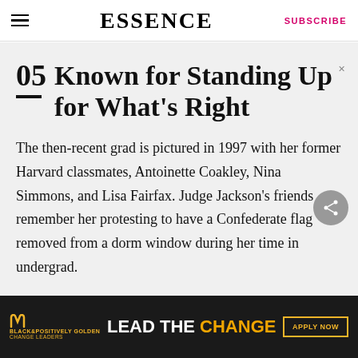ESSENCE | SUBSCRIBE
05 Known for Standing Up for What's Right
The then-recent grad is pictured in 1997 with her former Harvard classmates, Antoinette Coakley, Nina Simmons, and Lisa Fairfax. Judge Jackson's friends remember her protesting to have a Confederate flag removed from a dorm window during her time in undergrad.
[Figure (infographic): McDonald's advertisement banner: 'LEAD THE CHANGE' with Apply Now button and Black & Positively Golden Change Leaders text]